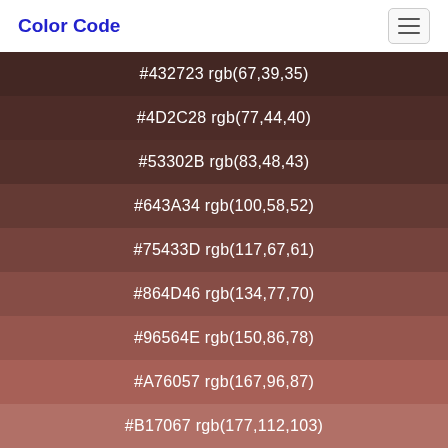Color Code
#432723 rgb(67,39,35)
#4D2C28 rgb(77,44,40)
#53302B rgb(83,48,43)
#643A34 rgb(100,58,52)
#75433D rgb(117,67,61)
#864D46 rgb(134,77,70)
#96564E rgb(150,86,78)
#A76057 rgb(167,96,87)
#B17067 rgb(177,112,103)